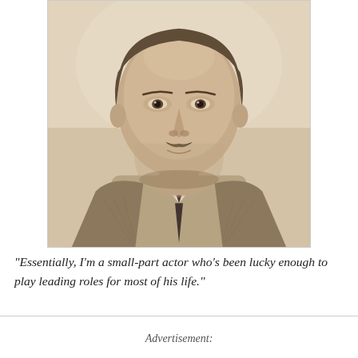[Figure (photo): Vintage black-and-white sepia-toned portrait photograph of a middle-aged man with a thin mustache, wearing a checkered suit jacket and dark tie, looking directly at the camera.]
"Essentially, I'm a small-part actor who's been lucky enough to play leading roles for most of his life."
Advertisement: